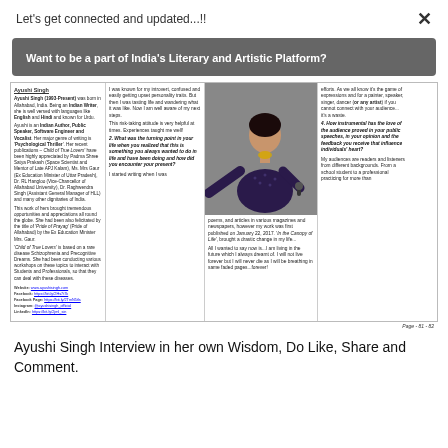Let's get connected and updated...!!
Want to be a part of India's Literary and Artistic Platform?
Ayushi Singh (1993-Present) was born in Allahabad, India. Being an Indian Writer, she is well versed with languages like English and Hindi and known for Urdu. Ayushi is an Indian Author, Public Speaker, Software Engineer and Vocalist. Her major genre of writing is 'Psychological Thriller'. Her recent publications 'Child of True Lovers' have been highly appreciated by Padma Shree Satya Prakash (Space Scientist and Mentor of Late APJ Kalam), Ms. Mrs Gaur (Ex-Education Minister of Uttar Pradesh), Dr. RL Hangloo (Vice-Chancellor of Allahabad University), Dr. Raghwendra Singh (Assistant General Manager of HLL) and many other dignitaries of India. This work of hers brought tremendous opportunities and appreciations all round the globe. She had been also felicitated by the title of 'Pride of Prayag' (Pride of Allahabad) by the Ex Education Minister Mrs. Gaur. 'Child of True Lovers' is based on a rare disease Schizophrenia and Precognitive Dreams. She had been conducting various workshops on these topics to interact with Students and Professionals, so that they can deal with these diseases.
I was known for my introvert, confused and easily getting upset personality traits. But then I was tasting life and wandering what it was like. Now I am well aware of my next steps. This risk-taking attitude is very helpful at times. Experiences taught me well! 2. What was the turning point in your life when you realized that this is something you always wanted to do in life and have been doing and how did you encounter your present? I started writing when I was
[Figure (photo): Photo of Ayushi Singh performing/speaking, wearing a dark patterned outfit, holding a microphone, arm extended outward]
poems, and articles in various magazines and newspapers, however my work was first published on January 22, 2017. 'In the Canopy of Life', brought a drastic change in my life... All I wanted to say now is...I am living in the future which I always dreamt of. I will not live forever but I will never die as I will be breathing in same faded pages...forever!
efforts. As we all know it's the game of expressions and for a painter, speaker, singer, dancer (or any artist) if you cannot connect with your audience... it's a waste. 4. How instrumental has the love of the audience proved in your public speeches, in your opinion and the feedback you receive that influence individuals' heart? My audiences are readers and listeners from different backgrounds. From a school student to a professional practicing for more than
Page - 81 - 82
Ayushi Singh Interview in her own Wisdom, Do Like, Share and Comment.